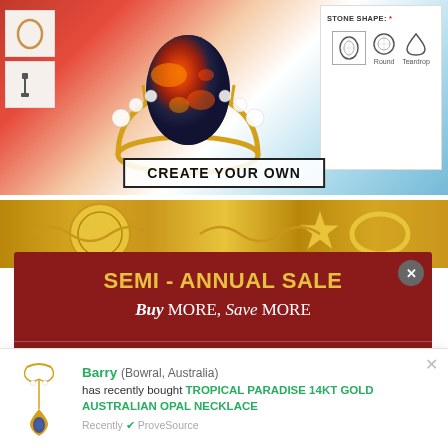[Figure (screenshot): Jewelry customizer screenshot showing a gold ring with a large oval opal stone and diamond accents, alongside a stone shape selection panel with Round and Teardrop options highlighted. The background has red, peach, and blue gradient areas.]
STONE SHAPE: *
CREATE YOUR OWN
[Figure (photo): Gold jewelry banner showing gold necklaces, bracelets, and star-shaped jewelry pieces on a golden background.]
[Figure (infographic): Dark red semi-annual sale popup banner showing: SEMI - ANNUAL SALE / Buy MORE, Save MORE / BUY 1 | BUY 2 | BUY 3+]
SEMI - ANNUAL SALE
Buy MORE, Save MORE
BUY 1 | BUY 2 | BUY 3+
[Figure (infographic): ProveSource social proof notification showing a necklace image, customer name Barry from Bowral Australia, who recently bought TROPICAL PARADISE 14KT GOLD AUSTRALIAN OPAL NECKLACE, with ProveSource branding.]
Barry (Bowral, Australia) has recently bought TROPICAL PARADISE 14KT GOLD AUSTRALIAN OPAL NECKLACE Recently ✓ ProveSource